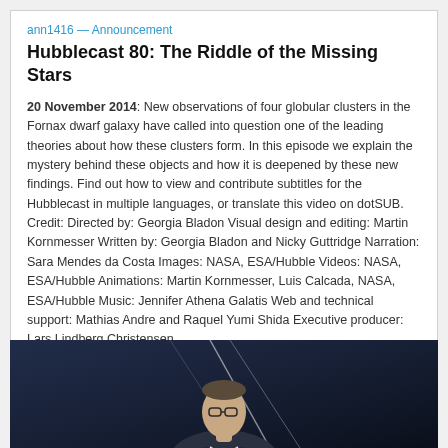ann1416 — Announcement
Hubblecast 80: The Riddle of the Missing Stars
20 November 2014: New observations of four globular clusters in the Fornax dwarf galaxy have called into question one of the leading theories about how these clusters form. In this episode we explain the mystery behind these objects and how it is deepened by these new findings. Find out how to view and contribute subtitles for the Hubblecast in multiple languages, or translate this video on dotSUB. Credit: Directed by: Georgia Bladon Visual design and editing: Martin Kornmesser Written by: Georgia Bladon and Nicky Guttridge Narration: Sara Mendes da Costa Images: NASA, ESA/Hubble Videos: NASA, ESA/Hubble Animations: Martin Kornmesser, Luis Calcada, NASA, ESA/Hubble Music: Jennifer Athena Galatis Web and technical support: Mathias Andre and Raquel Yumi Shida Executive producer: Lars Lindberg Christensen
READ MORE
[Figure (photo): A person (presenter) seen from the shoulders up against a dark blue background with geometric/grid overlay elements, appearing to be a studio or presentation setting.]